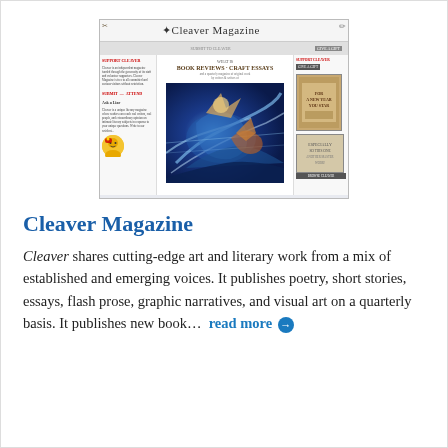[Figure (screenshot): Screenshot of the Cleaver Magazine website showing the site header with title 'Cleaver Magazine', navigation bar, left sidebar with 'Support Cleaver' text, main area with 'Book Reviews · Craft Essays' headline and a colorful abstract painting as cover image, and right sidebar with donation button and book advertisement.]
Cleaver Magazine
Cleaver shares cutting-edge art and literary work from a mix of established and emerging voices. It publishes poetry, short stories, essays, flash prose, graphic narratives, and visual art on a quarterly basis. It publishes new book...  read more →